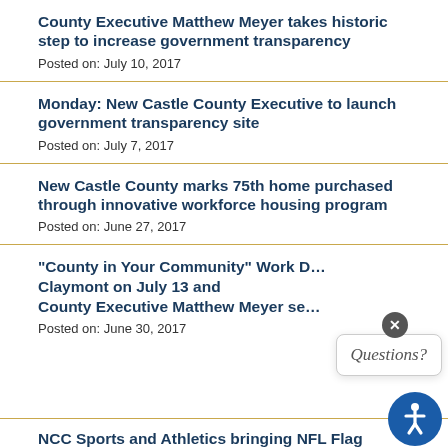County Executive Matthew Meyer takes historic step to increase government transparency
Posted on: July 10, 2017
Monday: New Castle County Executive to launch government transparency site
Posted on: July 7, 2017
New Castle County marks 75th home purchased through innovative workforce housing program
Posted on: June 27, 2017
County Executive Matthew Meyer se… "County in Your Community" Work D… Claymont on July 13 and
Posted on: June 30, 2017
NCC Sports and Athletics bringing NFL Flag